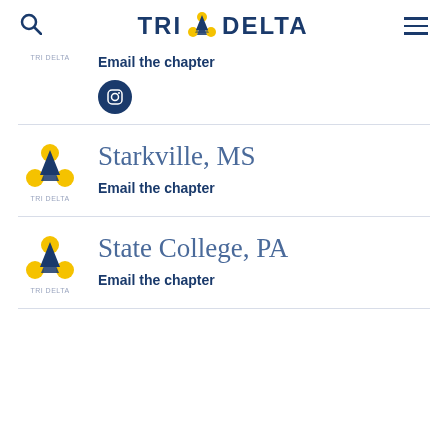TRI DELTA
TRI DELTA / Email the chapter
Email the chapter
Starkville, MS
Email the chapter
State College, PA
Email the chapter